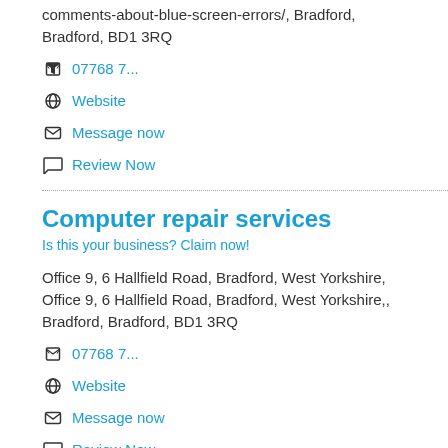comments-about-blue-screen-errors/, Bradford, Bradford, BD1 3RQ
07768 7...
Website
Message now
Review Now
Computer repair services
Is this your business? Claim now!
Office 9, 6 Hallfield Road, Bradford, West Yorkshire, Office 9, 6 Hallfield Road, Bradford, West Yorkshire,, Bradford, Bradford, BD1 3RQ
07768 7...
Website
Message now
Review Now